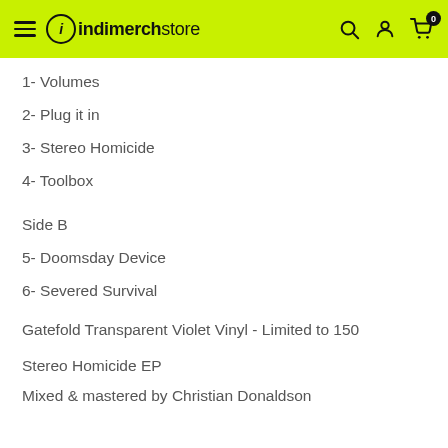indiemerchstore
1- Volumes
2- Plug it in
3- Stereo Homicide
4- Toolbox
Side B
5- Doomsday Device
6- Severed Survival
Gatefold Transparent Violet Vinyl - Limited to 150
Stereo Homicide EP
Mixed & mastered by Christian Donaldson